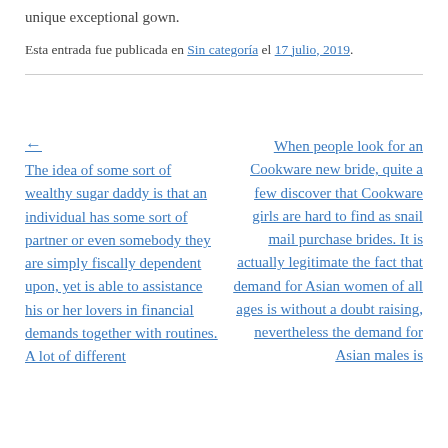unique exceptional gown.
Esta entrada fue publicada en Sin categoría el 17 julio, 2019.
← The idea of some sort of wealthy sugar daddy is that an individual has some sort of partner or even somebody they are simply fiscally dependent upon, yet is able to assistance his or her lovers in financial demands together with routines. A lot of different
When people look for an Cookware new bride, quite a few discover that Cookware girls are hard to find as snail mail purchase brides. It is actually legitimate the fact that demand for Asian women of all ages is without a doubt raising, nevertheless the demand for Asian males is